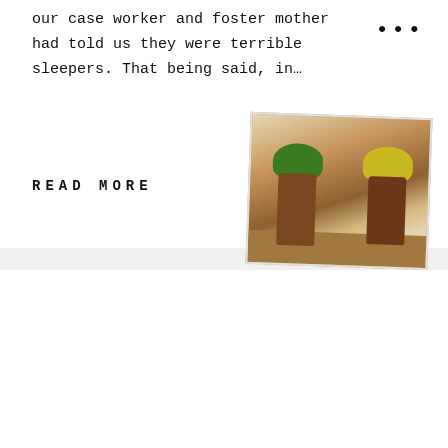our case worker and foster mother had told us they were terrible sleepers. That being said, in…
[Figure (photo): Two small children wearing colorful hats and brown coats standing indoors on a wood floor]
READ MORE
Custody
We took custody of the girls first thing Monday morning on December 23rd at ESWS, the Korean agency. As we were walking in, we ran into two